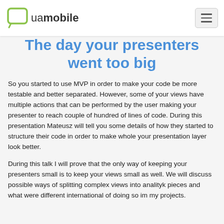uamobile
The day your presenters went too big
So you started to use MVP in order to make your code be more testable and better separated. However, some of your views have multiple actions that can be performed by the user making your presenter to reach couple of hundred of lines of code. During this presentation Mateusz will tell you some details of how they started to structure their code in order to make whole your presentation layer look better.
During this talk I will prove that the only way of keeping your presenters small is to keep your views small as well. We will discuss possible ways of splitting complex views into analityk pieces and what were different international of doing so im my projects.